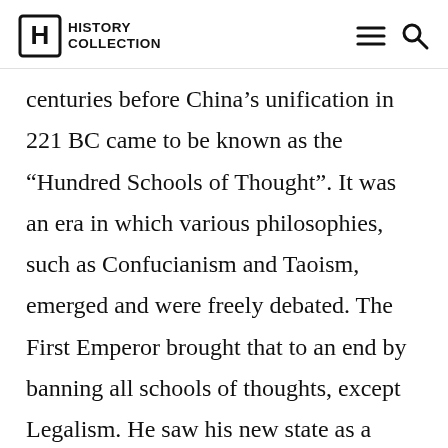History Collection
centuries before China’s unification in 221 BC came to be known as the “Hundred Schools of Thought”. It was an era in which various philosophies, such as Confucianism and Taoism, emerged and were freely debated. The First Emperor brought that to an end by banning all schools of thoughts, except Legalism. He saw his new state as a radical break from the past. To emphasize that break, as well as to keep his subjects from pining for bygone days, he ordered